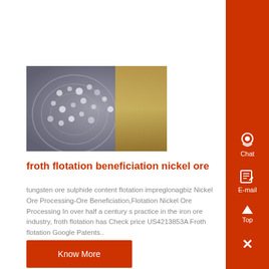[Figure (photo): Close-up photograph of froth flotation process showing metallic ore particles on a circular spinning surface with golden/amber colored material visible]
froth flotation beneficiation nickel ore
tungsten ore sulphide content flotation impreglonagbiz Nickel Ore Processing-Ore Beneficiation,Flotation Nickel Ore Processing In over half a century s practice in the iron ore industry, froth flotation has Check price US4213853A Froth flotation Google Patents..
Know More